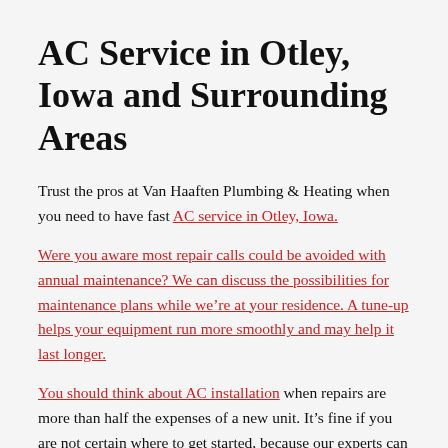AC Service in Otley, Iowa and Surrounding Areas
Trust the pros at Van Haaften Plumbing & Heating when you need to have fast AC service in Otley, Iowa.
Were you aware most repair calls could be avoided with annual maintenance? We can discuss the possibilities for maintenance plans while we’re at your residence. A tune-up helps your equipment run more smoothly and may help it last longer.
You should think about AC installation when repairs are more than half the expenses of a new unit. It’s fine if you are not certain where to get started, because our experts can help you find the ideal equipment for your